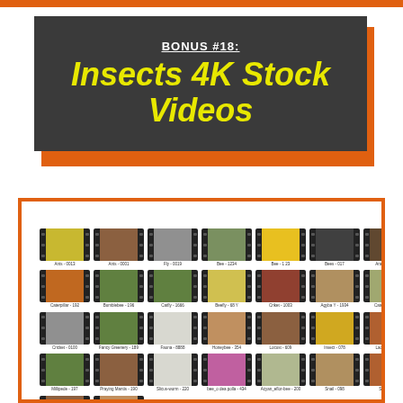BONUS #18: Insects 4K Stock Videos
[Figure (screenshot): Grid of video thumbnails showing insect-related 4K stock video clips with film-strip borders and small text labels below each thumbnail]